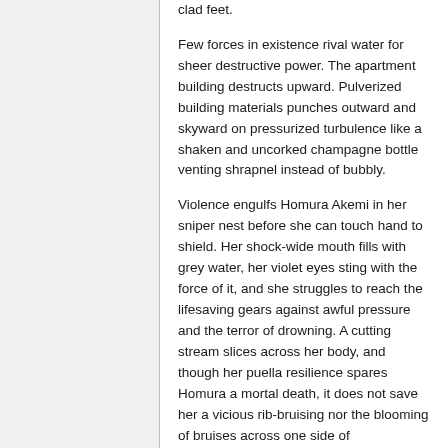clad feet.
Few forces in existence rival water for sheer destructive power. The apartment building destructs upward. Pulverized building materials punches outward and skyward on pressurized turbulence like a shaken and uncorked champagne bottle venting shrapnel instead of bubbly.
Violence engulfs Homura Akemi in her sniper nest before she can touch hand to shield. Her shock-wide mouth fills with grey water, her violet eyes sting with the force of it, and she struggles to reach the lifesaving gears against awful pressure and the terror of drowning. A cutting stream slices across her body, and though her puella resilience spares Homura a mortal death, it does not save her a vicious rib-bruising nor the blooming of bruises across one side of